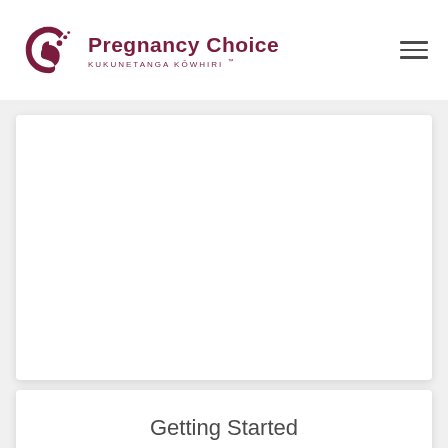Pregnancy Choice KUKUNETANGA KŌWHIRI ™
[Figure (other): White content card with empty image area]
Getting Started
New to two-factor authentication? We've got information that will help you get set up and